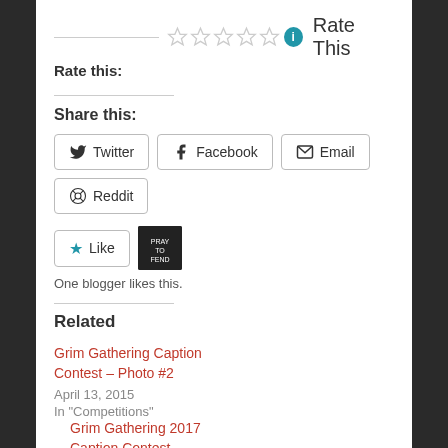Rate this: Rate This
Share this:
Twitter  Facebook  Email  Reddit
Like  One blogger likes this.
Related
Grim Gathering Caption Contest – Photo #2
April 13, 2015
In "Competitions"
Grim Gathering 2017 Caption Contest
September 26, 2017
In "Competitions"
BristolCon 2018 Caption Contest